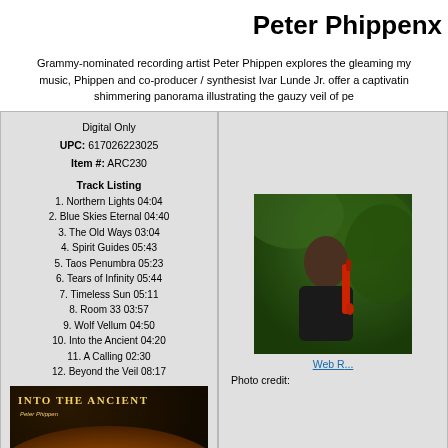Peter Phippenx
Grammy-nominated recording artist Peter Phippen explores the gleaming my music, Phippen and co-producer / synthesist Ivar Lunde Jr. offer a captivating shimmering panorama illustrating the gauzy veil of pe
Digital Only
UPC: 617026223025
Item #: ARC230

Track Listing
1. Northern Lights 04:04
2. Blue Skies Eternal 04:40
3. The Old Ways 03:04
4. Spirit Guides 05:43
5. Taos Penumbra 05:23
6. Tears of Infinity 05:44
7. Timeless Sun 05:11
8. Room 33 03:57
9. Wolf Vellum 04:50
10. Into the Ancient 04:20
11. A Calling 02:30
12. Beyond the Veil 08:17
[Figure (photo): Album cover for 'Into the Ancient' by Peter Phippen, showing a close-up of a mushroom gill with golden/amber tones]
[Figure (photo): Photo of Peter Phippen outdoors holding a red instrument, with green foliage background]
Web R...
Photo credit: